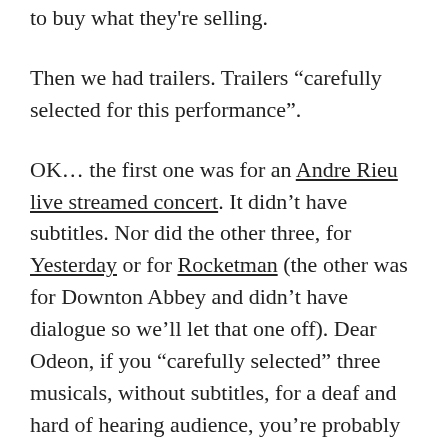to buy what they’re selling.
Then we had trailers. Trailers “carefully selected for this performance”.
OK… the first one was for an Andre Rieu live streamed concert. It didn’t have subtitles. Nor did the other three, for Yesterday or for Rocketman (the other was for Downton Abbey and didn’t have dialogue so we’ll let that one off). Dear Odeon, if you “carefully selected” three musicals, without subtitles, for a deaf and hard of hearing audience, you’re probably doing it wrong.